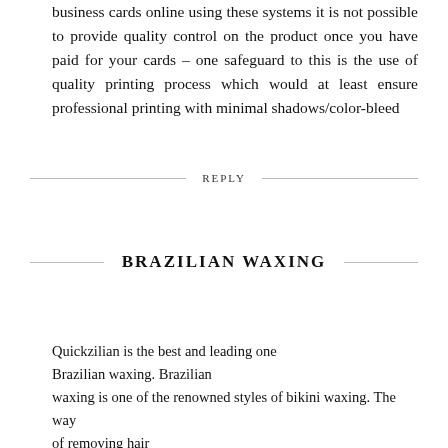business cards online using these systems it is not possible to provide quality control on the product once you have paid for your cards – one safeguard to this is the use of quality printing process which would at least ensure professional printing with minimal shadows/color-bleed
REPLY
BRAZILIAN WAXING
Quickzilian is the best and leading one Brazilian waxing. Brazilian waxing is one of the renowned styles of bikini waxing. The way of removing hair through your private area has to be perfect because this